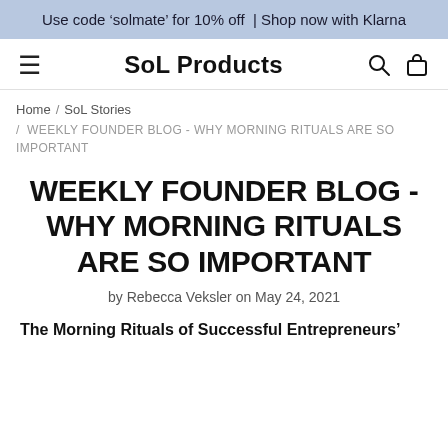Use code 'solmate' for 10% off  | Shop now with Klarna
SoL Products
Home / SoL Stories / WEEKLY FOUNDER BLOG - WHY MORNING RITUALS ARE SO IMPORTANT
WEEKLY FOUNDER BLOG - WHY MORNING RITUALS ARE SO IMPORTANT
by Rebecca Veksler on May 24, 2021
The Morning Rituals of Successful Entrepreneurs'